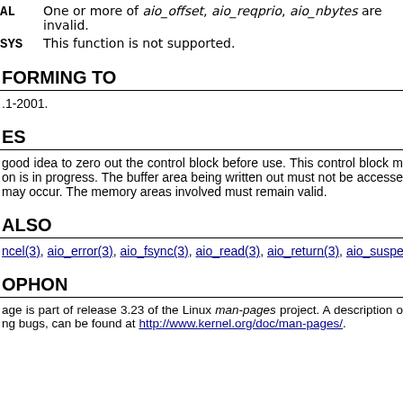AL  One or more of aio_offset, aio_reqprio, aio_nbytes are invalid.
SYS  This function is not supported.
FORMING TO
.1-2001.
ES
good idea to zero out the control block before use. This control block m on is in progress. The buffer area being written out must not be accesse may occur. The memory areas involved must remain valid.
ALSO
ncel(3), aio_error(3), aio_fsync(3), aio_read(3), aio_return(3), aio_suspend
OPHON
age is part of release 3.23 of the Linux man-pages project. A description o ng bugs, can be found at http://www.kernel.org/doc/man-pages/.